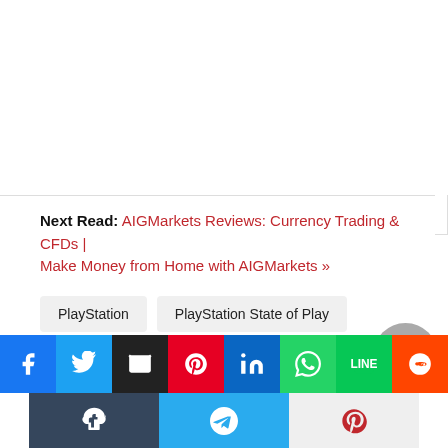Next Read: AIGMarkets Reviews: Currency Trading & CFDs | Make Money from Home with AIGMarkets »
PlayStation
PlayStation State of Play
PlayStation State of Play event
Sony PlayStation State of Play
Sony PlayStation State of Play event
[Figure (infographic): Social sharing bar with icons for Facebook, Twitter, Email, Pinterest, LinkedIn, WhatsApp, LINE, Reddit, Tumblr, Telegram, Pocket]